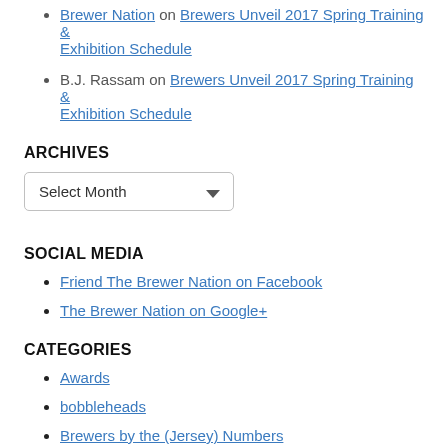Brewer Nation on Brewers Unveil 2017 Spring Training & Exhibition Schedule
B.J. Rassam on Brewers Unveil 2017 Spring Training & Exhibition Schedule
ARCHIVES
Select Month (dropdown)
SOCIAL MEDIA
Friend The Brewer Nation on Facebook
The Brewer Nation on Google+
CATEGORIES
Awards
bobbleheads
Brewers by the (Jersey) Numbers